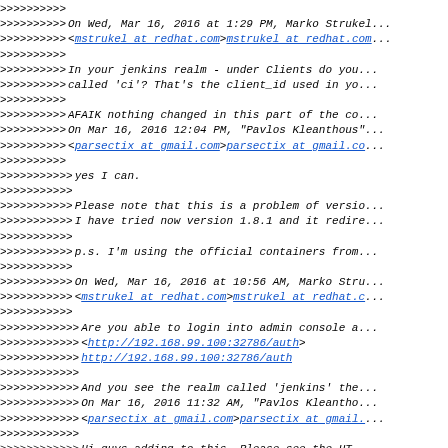>>>>>>>>>>
>>>>>>>>>> On Wed, Mar 16, 2016 at 1:29 PM, Marko Strukel...
>>>>>>>>>> <mstrukel at redhat.com>mstrukel at redhat.com...
>>>>>>>>>>
>>>>>>>>>> In your jenkins realm - under Clients do you...
>>>>>>>>>> called 'ci'? That's the client_id used in yo...
>>>>>>>>>>
>>>>>>>>>> AFAIK nothing changed in this part of the co...
>>>>>>>>>> On Mar 16, 2016 12:04 PM, "Pavlos Kleanthous"...
>>>>>>>>>> <parsectix at gmail.com>parsectix at gmail.co...
>>>>>>>>>>
>>>>>>>>>>> yes I can.
>>>>>>>>>>>
>>>>>>>>>>> Please note that this is a problem of versio...
>>>>>>>>>>> I have tried now version 1.8.1 and it redire...
>>>>>>>>>>>
>>>>>>>>>>> p.s. I'm using the official containers from...
>>>>>>>>>>>
>>>>>>>>>>> On Wed, Mar 16, 2016 at 10:56 AM, Marko Stru...
>>>>>>>>>>> <mstrukel at redhat.com>mstrukel at redhat.c...
>>>>>>>>>>>
>>>>>>>>>>>> Are you able to login into admin console a...
>>>>>>>>>>>> <http://192.168.99.100:32786/auth>
>>>>>>>>>>>> http://192.168.99.100:32786/auth
>>>>>>>>>>>>
>>>>>>>>>>>> And you see the realm called 'jenkins' the...
>>>>>>>>>>>> On Mar 16, 2016 11:32 AM, "Pavlos Kleantho...
>>>>>>>>>>>> <parsectix at gmail.com>parsectix at gmail....
>>>>>>>>>>>>
>>>>>>>>>>>> Hi guys adding to this. Please see the HT...